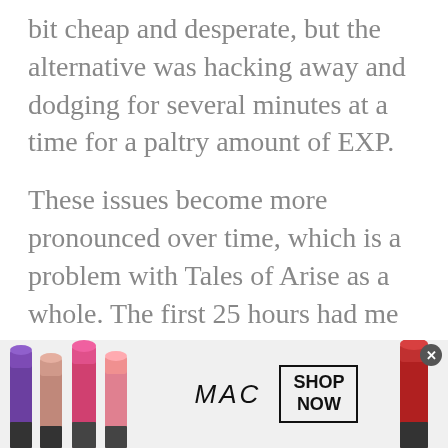bit cheap and desperate, but the alternative was hacking away and dodging for several minutes at a time for a paltry amount of EXP.
These issues become more pronounced over time, which is a problem with Tales of Arise as a whole. The first 25 hours had me completely addicted. I was playing for hours on end, finding it more fun than anything I'd played in recent years. But as the game goes on, the cracks start to show. The rich, detailed maps become forgettable and bland. The gripping, interesting story becomes overly reliant on exposition dumps. The fun, action-packed battles start to
[Figure (photo): MAC Cosmetics advertisement banner showing colorful lipsticks on the left, MAC logo in italic script in the center, a 'SHOP NOW' button, and a red lipstick on the right. An 'x' close button appears in the top right corner.]